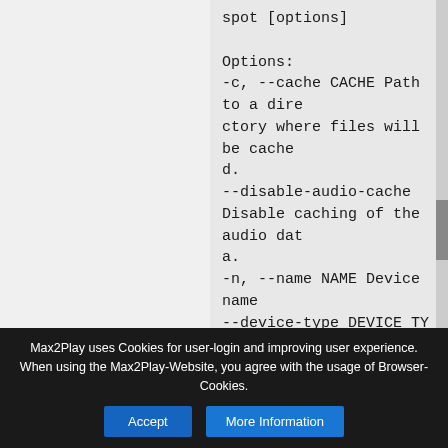spot [options]

Options:
-c, --cache CACHE Path to a directory where files will be cached.
--disable-audio-cache Disable caching of the audio data.
-n, --name NAME Device name
--device-type DEVICE_TYPE Displayed device type
-b, --bitrate BITRATE Bitrate (96, 160 or 320). Defaults to 160
--onevent PROGRAM Run PROGRAM when playback is about to begin.
Max2Play uses Cookies for user-login and improving user experience. When using the Max2Play-Website, you agree with the usage of Browser-Cookies.